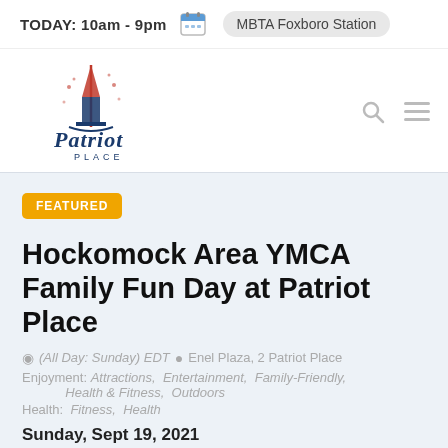TODAY: 10am - 9pm  MBTA Foxboro Station
[Figure (logo): Patriot Place logo with tower illustration and cursive text]
FEATURED
Hockomock Area YMCA Family Fun Day at Patriot Place
(All Day: Sunday) EDT  Enel Plaza, 2 Patriot Place
Enjoyment: Attractions, Entertainment, Family-Friendly, Health & Fitness, Outdoors
Health: Fitness, Health
Sunday, Sept 19, 2021
»» 5K Race begins at 8:00 AM